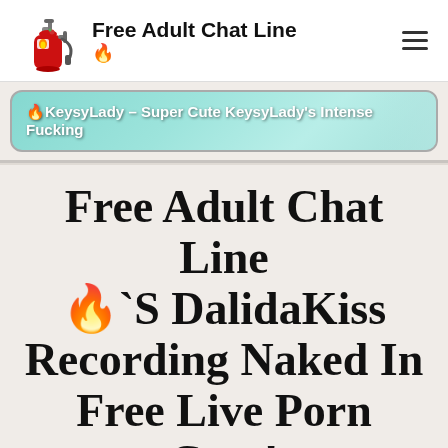Free Adult Chat Line 🔥
[Figure (illustration): Fire extinguisher emoji/logo icon in red]
🔥KeysyLady – Super Cute KeysyLady's Intense Fucking
Free Adult Chat Line 🔥`S DalidaKiss Recording Naked In Free Live Porn Cam! Watch Sex Video This Blondie